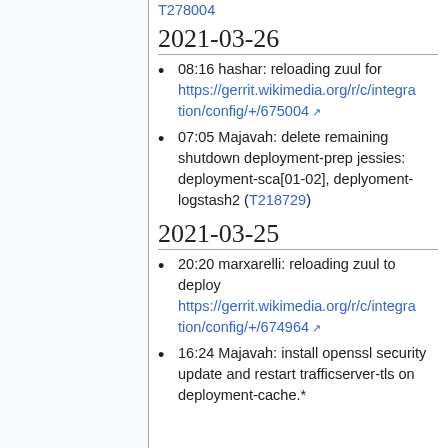T278004
2021-03-26
08:16 hashar: reloading zuul for https://gerrit.wikimedia.org/r/c/integration/config/+/675004
07:05 Majavah: delete remaining shutdown deployment-prep jessies: deployment-sca[01-02], deplyoment-logstash2 (T218729)
2021-03-25
20:20 marxarelli: reloading zuul to deploy https://gerrit.wikimedia.org/r/c/integration/config/+/674964
16:24 Majavah: install openssl security update and restart trafficserver-tls on deployment-cache.*